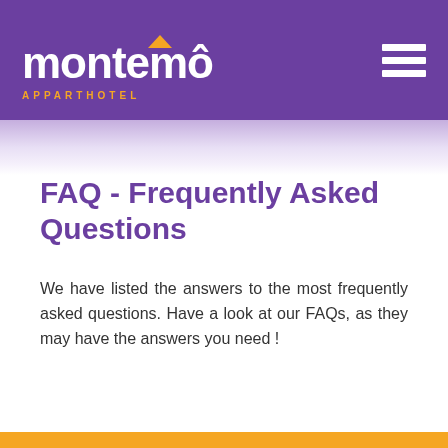[Figure (logo): Montempô Apparthotel logo in white text on purple background with orange accent roof/hat symbol and orange APPARTHOTEL subtitle text. Hamburger menu icon in top right.]
FAQ - Frequently Asked Questions
We have listed the answers to the most frequently asked questions. Have a look at our FAQs, as they may have the answers you need !